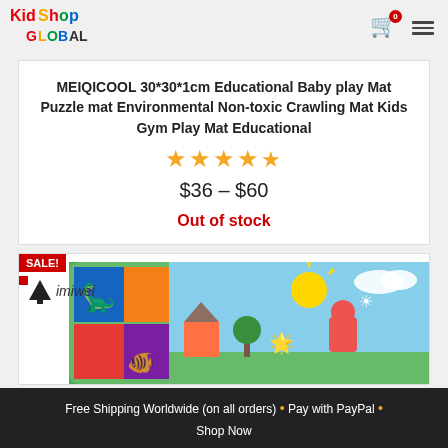[Figure (logo): Kid Shop Global logo with colorful text]
MEIQICOOL 30*30*1cm Educational Baby play Mat Puzzle mat Environmental Non-toxic Crawling Mat Kids Gym Play Mat Educational
★★★★★ (4.5 stars)
$36 – $60
Out of stock
[Figure (photo): Mimiwei brand colorful educational play mat rolled up showing cartoon animals and scenes]
Free Shipping Worldwide (on all orders) • Pay with PayPal • Shop Now